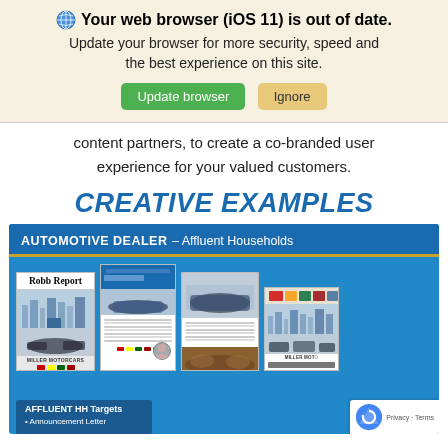Your web browser (iOS 11) is out of date. Update your browser for more security, speed and the best experience on this site. [Update browser] [Ignore]
content partners, to create a co-branded user experience for your valued customers.
CREATIVE EXAMPLES
[Figure (illustration): Automotive Dealer - Affluent Households creative example showing Robb Report magazine cover, email layouts, luxury car brochures, and Miller Motorcars branding. Bottom left shows 'AFFLUENT HH Targets' box with 'Announcement Letter' list item.]